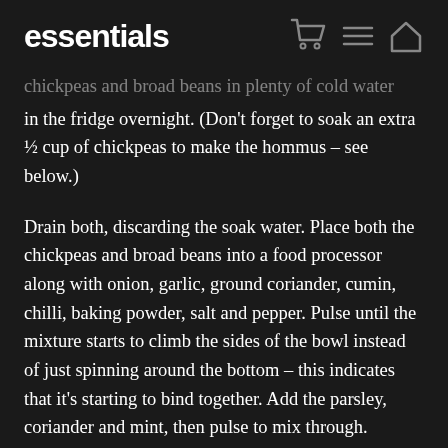essentials
chickpeas and broad beans in plenty of cold water in the fridge overnight. (Don't forget to soak an extra ½ cup of chickpeas to make the hommus – see below.)
Drain both, discarding the soak water. Place both the chickpeas and broad beans into a food processor along with onion, garlic, ground coriander, cumin, chilli, baking powder, salt and pepper. Pulse until the mixture starts to climb the sides of the bowl instead of just spinning around the bottom – this indicates that it's starting to bind together. Add the parsley, coriander and mint, then pulse to mix through.